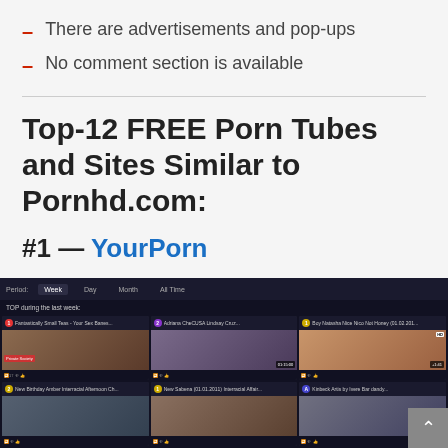There are advertisements and pop-ups
No comment section is available
Top-12 FREE Porn Tubes and Sites Similar to Pornhd.com:
#1 — YourPorn
[Figure (screenshot): Screenshot of YourPorn website showing a video grid layout with period tabs (Week, Day, Month, All Time) and thumbnail grid of videos]